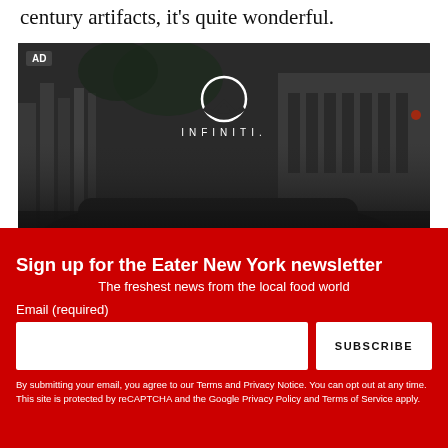century artifacts, it's quite wonderful.
[Figure (photo): INFINITI car advertisement showing a dark luxury SUV parked in front of a classic stone building at night. AD label in top left corner. INFINITI logo and wordmark centered at top of image.]
close ✕
Sign up for the Eater New York newsletter
The freshest news from the local food world
Email (required)
SUBSCRIBE
By submitting your email, you agree to our Terms and Privacy Notice. You can opt out at any time. This site is protected by reCAPTCHA and the Google Privacy Policy and Terms of Service apply.